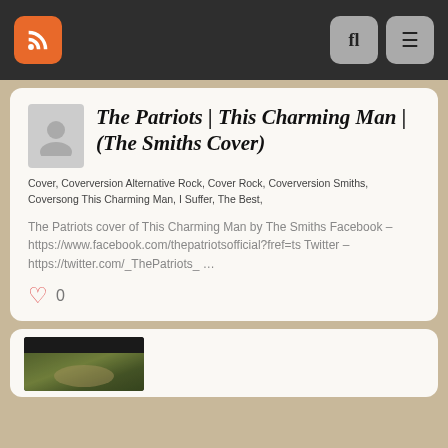RSS feed navigation bar with search and menu icons
The Patriots | This Charming Man | (The Smiths Cover)
Cover, Coverversion Alternative Rock, Cover Rock, Coverversion Smiths, Coversong This Charming Man, I Suffer, The Best,
The Patriots cover of This Charming Man by The Smiths Facebook – https://www.facebook.com/thepatriotsofficial?fref=ts Twitter – https://twitter.com/_ThePatriots_ …
0
[Figure (photo): Partial thumbnail image of a second post card, showing a dark banner at top and people below]